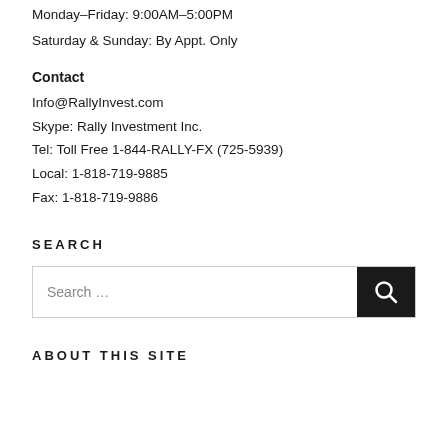Monday–Friday: 9:00AM–5:00PM
Saturday & Sunday: By Appt. Only
Contact
Info@RallyInvest.com
Skype: Rally Investment Inc.
Tel: Toll Free 1-844-RALLY-FX (725-5939)
Local: 1-818-719-9885
Fax: 1-818-719-9886
SEARCH
[Figure (other): Search input box with magnifying glass search button]
ABOUT THIS SITE